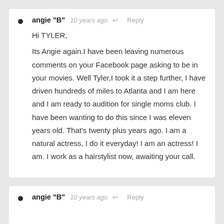angie "B" · 10 years ago · Reply

Hi TYLER,

Its Angie again.I have been leaving numerous comments on your Facebook page asking to be in your movies. Well Tyler,I took it a step further, I have driven hundreds of miles to Atlanta and I am here and I am ready to audition for single moms club. I have been wanting to do this since I was eleven years old. That's twenty plus years ago. I am a natural actress, I do it everyday! I am an actress! I am. I work as a hairstylist now, awaiting your call.
angie "B" · 10 years ago · Reply